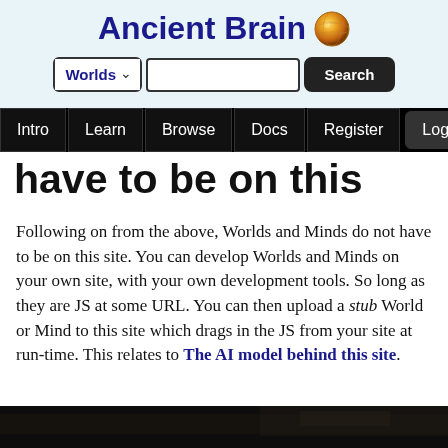Ancient Brain
have to be on this site
Following on from the above, Worlds and Minds do not have to be on this site. You can develop Worlds and Minds on your own site, with your own development tools. So long as they are JS at some URL. You can then upload a stub World or Mind to this site which drags in the JS from your site at run-time. This relates to The AI model behind this site.